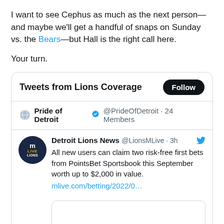I want to see Cephus as much as the next person—and maybe we'll get a handful of snaps on Sunday vs. the Bears—but Hall is the right call here.
Your turn.
[Figure (screenshot): Embedded Twitter/X widget showing 'Tweets from Lions Coverage' with a Follow button, Pride of Detroit @PrideOfDetroit account with 24 Members, and a tweet from Detroit Lions News @LionsMLive 3h ago: 'All new users can claim two risk-free first bets from PointsBet Sportsbook this September worth up to $2,000 in value. mlive.com/betting/2022/0...' with an image preview below.]